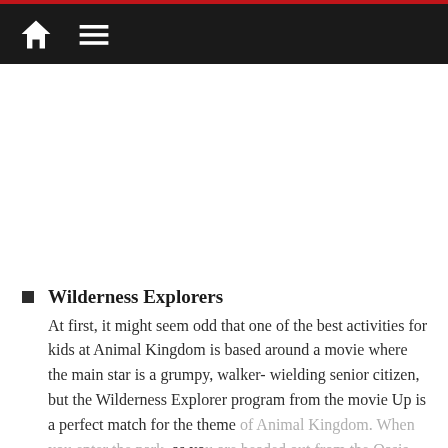Navigation bar with home and menu icons
Wilderness Explorers — At first, it might seem odd that one of the best activities for kids at Animal Kingdom is based around a movie where the main star is a grumpy, walker-wielding senior citizen, but the Wilderness Explorer program from the movie Up is a perfect match for the theme of Animal Kingdom. When you enter the park, as you are headed out from the Oasis down to the Tree of Life, on the right side you will see the introductory